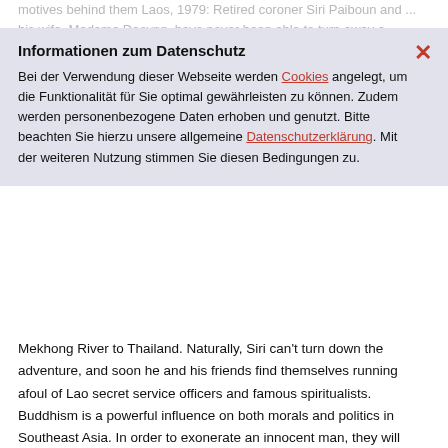motives behind them Laos, 1979: Retired coroner Siri Paiboun and ... his wife, Madame Daevng, have never been able to turn away a monk ... associated for nearly a decade, people he cares about and begin calling themselves a clan, meaning only a cryptic ... similar refrigerator, a plot to help a fellow monk escape across the Mekhong River to Thailand. Naturally, Siri can't turn down the adventure, and soon he and his friends find themselves running afoul of Lao secret service officers and famous spiritualists. Buddhism is a powerful influence on both morals and politics in Southeast Asia. In order to exonerate an innocent man, they will have to figure out who is cloaking terrible misdeeds in religiosity. From the...
Informationen zum Datenschutz
Bei der Verwendung dieser Webseite werden Cookies angelegt, um die Funktionalität für Sie optimal gewährleisten zu können. Zudem werden personenbezogene Daten erhoben und genutzt. Bitte beachten Sie hierzu unsere allgemeine Datenschutzerklärung. Mit der weiteren Nutzung stimmen Sie diesen Bedingungen zu.
Details
VerfasserIn: Cotterill, Colin
VerfasserInnenangabe: Colin Cotterill
Jahr: 2016